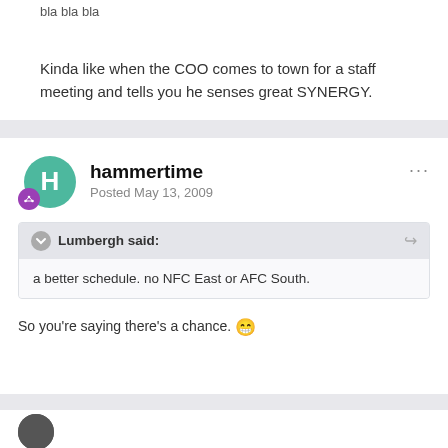bla bla bla
Kinda like when the COO comes to town for a staff meeting and tells you he senses great SYNERGY.
hammertime
Posted May 13, 2009
Lumbergh said:
a better schedule. no NFC East or AFC South.
So you're saying there's a chance. 😁